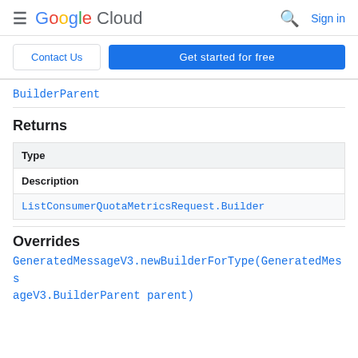Google Cloud — Sign in
Contact Us | Get started for free
BuilderParent
Returns
| Type |
| --- |
| Description |
| ListConsumerQuotaMetricsRequest.Builder |
Overrides
GeneratedMessageV3.newBuilderForType(GeneratedMessageV3.BuilderParent parent)